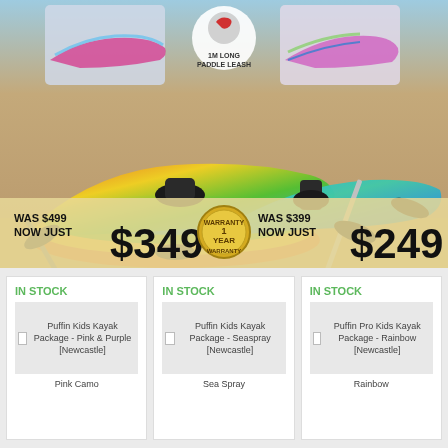[Figure (photo): Hero banner showing two colorful kayak packages on a sandy beach background, with paddles and seats. Left kayak is multi-color (green/yellow/orange/blue) with black seat, right kayak is blue/green/teal camo with black seat. Small thumbnail kayaks in top corners. 1M Long Paddle Leash badge in center top area.]
WAS $499 NOW JUST $349
[Figure (illustration): 1 YEAR WARRANTY badge - circular gold badge]
WAS $399 NOW JUST $249
IN STOCK
[Figure (photo): Puffin Kids Kayak Package - Pink & Purple [Newcastle]]
Puffin Kids Kayak Package - Pink & Purple [Newcastle]
Pink Camo
IN STOCK
[Figure (photo): Puffin Kids Kayak Package - Seaspray [Newcastle]]
Puffin Kids Kayak Package - Seaspray [Newcastle]
Sea Spray
IN STOCK
[Figure (photo): Puffin Pro Kids Kayak Package - Rainbow [Newcastle]]
Puffin Pro Kids Kayak Package - Rainbow [Newcastle]
Rainbow